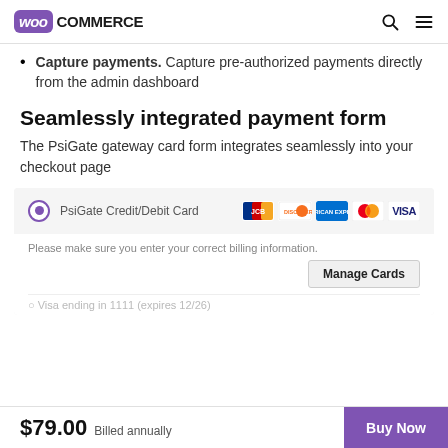WooCommerce
Capture payments. Capture pre-authorized payments directly from the admin dashboard
Seamlessly integrated payment form
The PsiGate gateway card form integrates seamlessly into your checkout page
[Figure (screenshot): Payment form showing PsiGate Credit/Debit Card option with JCB, Discover, Amex, Mastercard, and Visa logos. Includes billing info text, Manage Cards button, and Visa ending in 1111 option.]
$79.00 Billed annually | Buy Now